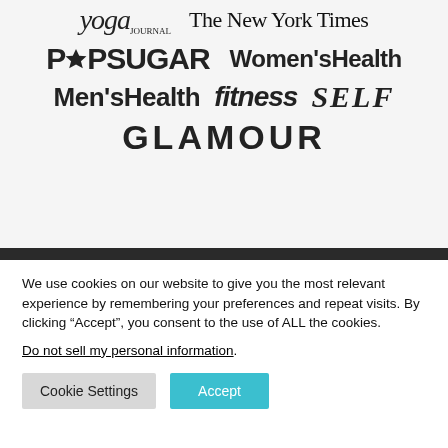[Figure (logo): Yoga Journal logo]
[Figure (logo): The New York Times logo]
[Figure (logo): POPSUGAR logo]
[Figure (logo): Women's Health logo]
[Figure (logo): Men's Health logo]
[Figure (logo): fitness logo]
[Figure (logo): SELF logo]
[Figure (logo): GLAMOUR logo]
We use cookies on our website to give you the most relevant experience by remembering your preferences and repeat visits. By clicking “Accept”, you consent to the use of ALL the cookies.
Do not sell my personal information.
Cookie Settings
Accept